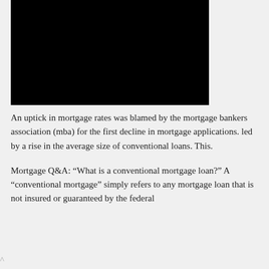[Figure (photo): Dark/black image at the top of the page, likely a photo related to mortgage or financial topic.]
An uptick in mortgage rates was blamed by the mortgage bankers association (mba) for the first decline in mortgage applications. led by a rise in the average size of conventional loans. This.
Mortgage Q&A: “What is a conventional mortgage loan?” A “conventional mortgage” simply refers to any mortgage loan that is not insured or guaranteed by the federal